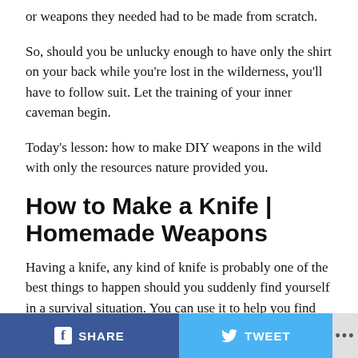or weapons they needed had to be made from scratch.
So, should you be unlucky enough to have only the shirt on your back while you're lost in the wilderness, you'll have to follow suit. Let the training of your inner caveman begin.
Today's lesson: how to make DIY weapons in the wild with only the resources nature provided you.
How to Make a Knife | Homemade Weapons
Having a knife, any kind of knife is probably one of the best things to happen should you suddenly find yourself in a survival situation. You can use it to help you find food, build a shelter, and defend yourself against wild
SHARE  TWEET  ...